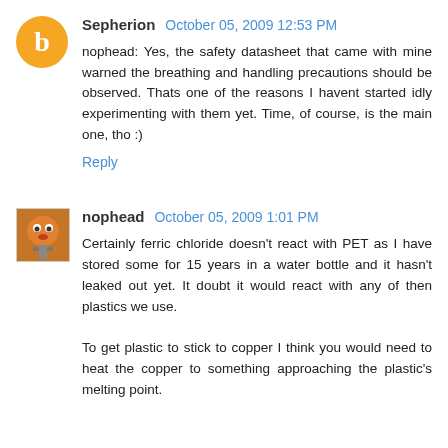Sepherion  October 05, 2009 12:53 PM
nophead:  Yes, the safety datasheet that came with mine warned the breathing and handling precautions should be observed.  Thats one of the reasons I havent started idly experimenting with them yet.  Time, of course, is the main one, tho :)
Reply
nophead  October 05, 2009 1:01 PM
Certainly ferric chloride doesn't react with PET as I have stored some for 15 years in a water bottle and it hasn't leaked out yet.  It doubt it would react with any of then plastics we use.

To get plastic to stick to copper I think you would need to heat the copper to something approaching the plastic's melting point.